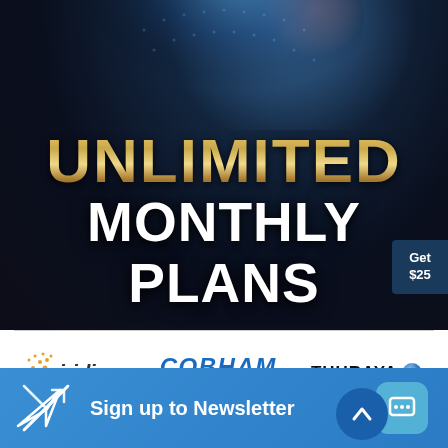[Figure (illustration): Dark space/globe themed hero banner with text 'UNLIMITED MONTHLY PLANS' in gold and white bold lettering on a dark navy/black background with a glowing globe decoration at the top]
[Figure (logo): Iridium Everywhere logo — dotted constellation icon in orange/amber dots, italic wordmark 'iridium' in dark gray, tagline 'Everywhere' below]
[Figure (logo): Cobham Thrane & Thrane logo — 'COBHAM' in bold blue italic with 'Thrane & Thrane' subtitle]
[Figure (logo): Thuraya logo with wordmark and blue globe icon]
Get $25
Sign up to Newsletter